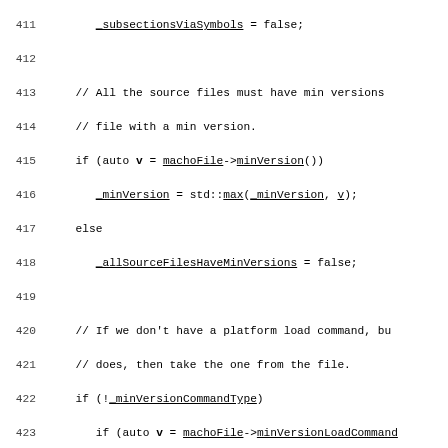[Figure (screenshot): Source code listing in monospace font showing C++ code lines 411-441, including functions assignAtomToSection and segmentForName from a linker utility (Util::), with underlined identifiers and bold function names.]